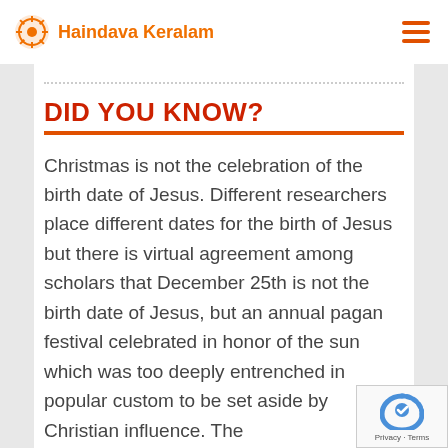Haindava Keralam
DID YOU KNOW?
Christmas is not the celebration of the birth date of Jesus. Different researchers place different dates for the birth of Jesus but there is virtual agreement among scholars that December 25th is not the birth date of Jesus, but an annual pagan festival celebrated in honor of the sun which was too deeply entrenched in popular custom to be set aside by Christian influence. The